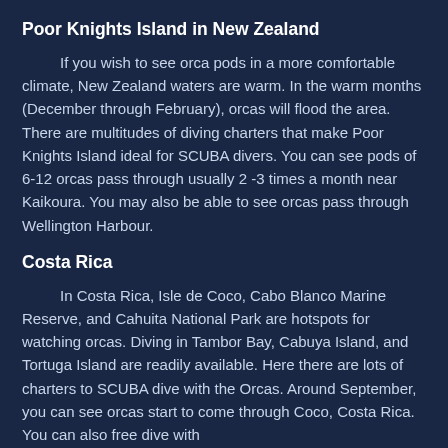Poor Knights Island in New Zealand
If you wish to see orca pods in a more comfortable climate, New Zealand waters are warm. In the warm months (December through February), orcas will flood the area. There are multitudes of diving charters that make Poor Knights Island ideal for SCUBA divers. You can see pods of 6-12 orcas pass through usually 2 -3 times a month near Kaikoura. You may also be able to see orcas pass through Wellington Harbour.
Costa Rica
In Costa Rica, Isle de Coco, Cabo Blanco Marine Reserve, and Cahuita National Park are hotspots for watching orcas. Diving in Tambor Bay, Cabuya Island, and Tortuga Island are readily available. Here there are lots of charters to SCUBA dive with the Orcas. Around September, you can see orcas start to come through Coco, Costa Rica. You can also free dive with